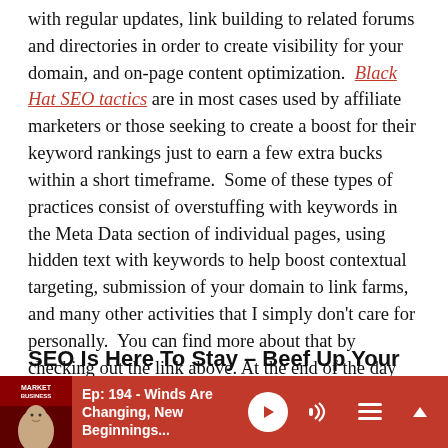with regular updates, link building to related forums and directories in order to create visibility for your domain, and on-page content optimization. Black Hat SEO tactics are in most cases used by affiliate marketers or those seeking to create a boost for their keyword rankings just to earn a few extra bucks within a short timeframe. Some of these types of practices consist of overstuffing with keywords in the Meta Data section of individual pages, using hidden text with keywords to help boost contextual targeting, submission of your domain to link farms, and many other activities that I simply don't care for personally. You can find more about that by checking out the link above. At the end of the day and over the course of the long-term you should really focus on White Hat SEO especially if you're seeking longevity of your business.
SEO Is Here To Stay – Beef Up Your Content
[Figure (other): Partially visible image/thumbnail below section header]
[Figure (other): Podcast player bar at bottom: red background, thumbnail with face and logo, episode title 'Ep: 194 - Winds Are Changing, New Beginnings...', play button, volume icon, list icon, chevron up icon]